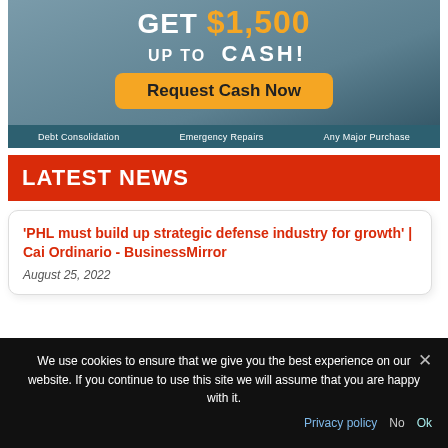[Figure (illustration): Advertisement banner: 'GET [amount] UP TO CASH! Request Cash Now' with categories: Debt Consolidation, Emergency Repairs, Any Major Purchase]
LATEST NEWS
'PHL must build up strategic defense industry for growth' | Cai Ordinario - BusinessMirror
August 25, 2022
We use cookies to ensure that we give you the best experience on our website. If you continue to use this site we will assume that you are happy with it.
Privacy policy  No  Ok